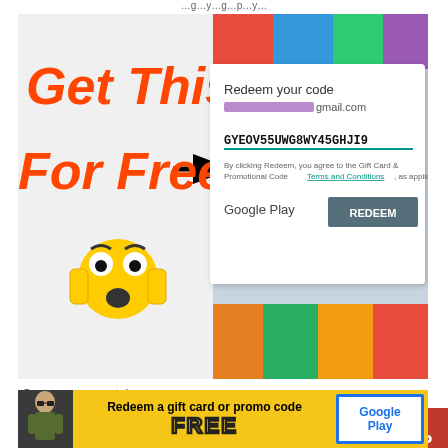…g…y…g…p…y…
[Figure (screenshot): Composite image showing 'Get This For Free' in large orange text on left with a black arrow pointing right, and a Google Play 'Redeem your code' dialog box on the right showing code GYEOV55UWG8WY45GHJI9 and a teal REDEEM button. A shocked face emoji is shown below the orange text. The background shows colorful game app icons.]
Source: www.youtube.com
Google play store redeem code free 2021 in 2021 google from in.pinterest.com. Here you will be given google store gift cards absolutely free of cost.
[Figure (infographic): Bottom advertisement banner with yellow background showing a game character on left, 'Redeem a gift card or promo code' text in center, 'FREE' in large yellow outlined letters, and Google Play logo on right.]